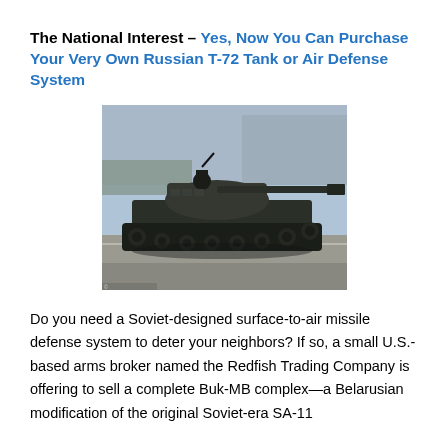The National Interest – Yes, Now You Can Purchase Your Very Own Russian T-72 Tank or Air Defense System
[Figure (photo): A Russian T-72 tank photographed during a military parade, with a soldier visible in the turret hatch and the tank's long barrel extended forward. The tank is dark green/black and is moving along a road with crowds visible in the background.]
Do you need a Soviet-designed surface-to-air missile defense system to deter your neighbors? If so, a small U.S.-based arms broker named the Redfish Trading Company is offering to sell a complete Buk-MB complex—a Belarusian modification of the original Soviet-era SA-11 Gadfly air defense system. The